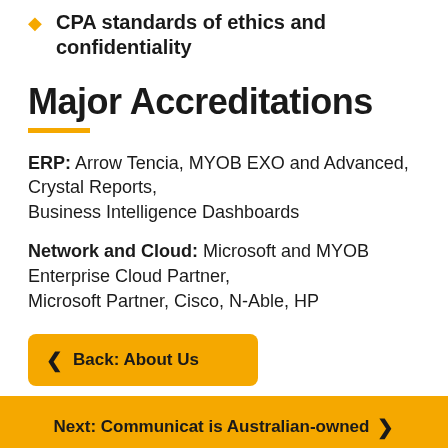CPA standards of ethics and confidentiality
Major Accreditations
ERP: Arrow Tencia, MYOB EXO and Advanced, Crystal Reports, Business Intelligence Dashboards
Network and Cloud: Microsoft and MYOB Enterprise Cloud Partner, Microsoft Partner, Cisco, N-Able, HP
Back: About Us
Next: Communicat is Australian-owned